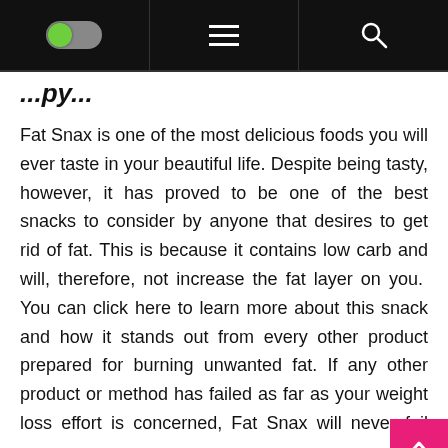[toggle] [menu] [search]
...py...
Fat Snax is one of the most delicious foods you will ever taste in your beautiful life. Despite being tasty, however, it has proved to be one of the best snacks to consider by anyone that desires to get rid of fat. This is because it contains low carb and will, therefore, not increase the fat layer on you. You can click here to learn more about this snack and how it stands out from every other product prepared for burning unwanted fat. If any other product or method has failed as far as your weight loss effort is concerned, Fat Snax will never fail you.